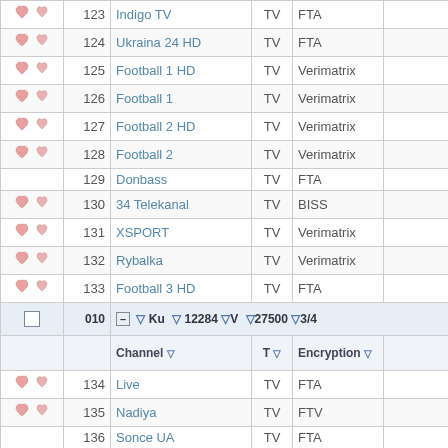|  | # | Channel | T | Encryption |  |
| --- | --- | --- | --- | --- | --- |
| (icons) | 123 | Indigo TV | TV | FTA |  |
| (icons) | 124 | Ukraina 24 HD | TV | FTA |  |
| (icons) | 125 | Football 1 HD | TV | Verimatrix |  |
| (icons) | 126 | Football 1 | TV | Verimatrix |  |
| (icons) | 127 | Football 2 HD | TV | Verimatrix |  |
| (icons) | 128 | Football 2 | TV | Verimatrix |  |
|  | 129 | Donbass | TV | FTA |  |
| (icons) | 130 | 34 Telekanal | TV | BISS |  |
| (icons) | 131 | XSPORT | TV | Verimatrix |  |
| (icons) | 132 | Rybalka | TV | Verimatrix |  |
| (icons) | 133 | Football 3 HD | TV | FTA |  |
| SEP | 010 | Ku | 12284 V 27500 3/4 |  |  |
| HDR | Channel | T | Encryption |  |  |
| (icons) | 134 | Live | TV | FTA |  |
| (icons) | 135 | Nadiya | TV | FTV |  |
|  | 136 | Sonce UA | TV | FTA |  |
| (icons) | 137 | Karavan | TV | FTA |  |
| (icons) | 138 | New Christian | TV | FTA |  |